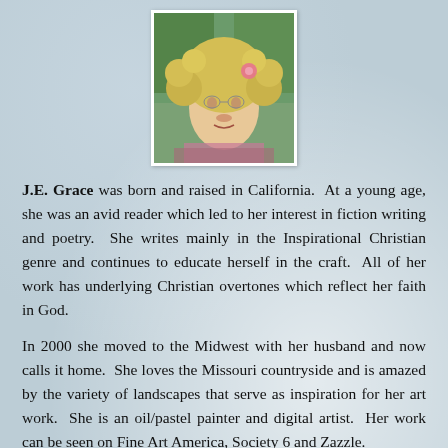[Figure (photo): Portrait photo of J.E. Grace, a woman with curly blonde hair and a pink flower accessory, wearing a floral blouse, photographed outdoors with greenery in the background.]
J.E. Grace was born and raised in California. At a young age, she was an avid reader which led to her interest in fiction writing and poetry. She writes mainly in the Inspirational Christian genre and continues to educate herself in the craft. All of her work has underlying Christian overtones which reflect her faith in God.
In 2000 she moved to the Midwest with her husband and now calls it home. She loves the Missouri countryside and is amazed by the variety of landscapes that serve as inspiration for her art work. She is an oil/pastel painter and digital artist. Her work can be seen on Fine Art America, Society 6 and Zazzle.